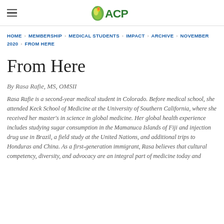ACP
HOME > MEMBERSHIP > MEDICAL STUDENTS > IMPACT > ARCHIVE > NOVEMBER 2020 > FROM HERE
From Here
By Rasa Rafie, MS, OMSII
Rasa Rafie is a second-year medical student in Colorado. Before medical school, she attended Keck School of Medicine at the University of Southern California, where she received her master's in science in global medicine. Her global health experience includes studying sugar consumption in the Mamanuca Islands of Fiji and injection drug use in Brazil, a field study at the United Nations, and additional trips to Honduras and China. As a first-generation immigrant, Rasa believes that cultural competency, diversity, and advocacy are an integral part of medicine today and